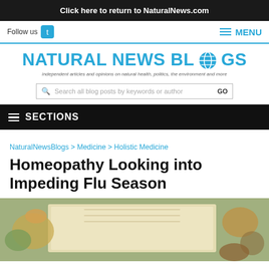Click here to return to NaturalNews.com
Follow us  ≡ MENU
[Figure (logo): Natural News Blogs logo with globe icon and tagline: independent articles and opinions on natural health, politics, the environment and more]
Search all blog posts by keywords or author  GO
≡ SECTIONS
NaturalNewsBlogs > Medicine > Holistic Medicine
Homeopathy Looking into Impeding Flu Season
[Figure (photo): Flat lay photo of herbs, dried flowers, and an open blank book surrounded by natural remedies and spices]